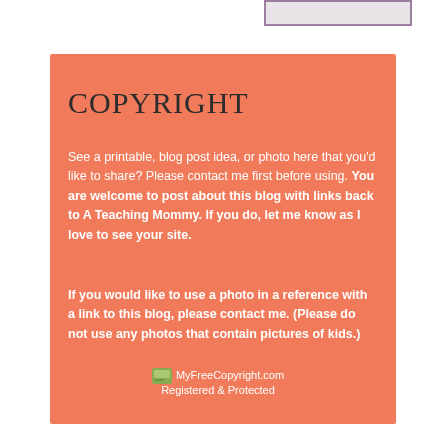COPYRIGHT
See a printable, blog post idea, or photo here that you'd like to share? Please contact me first before using. You are welcome to post about this blog with links back to A Teaching Mommy. If you do, let me know as I love to see your site.
If you would like to use a photo in a reference with a link to this blog, please contact me. (Please do not use any photos that contain pictures of kids.)
MyFreeCopyright.com Registered & Protected